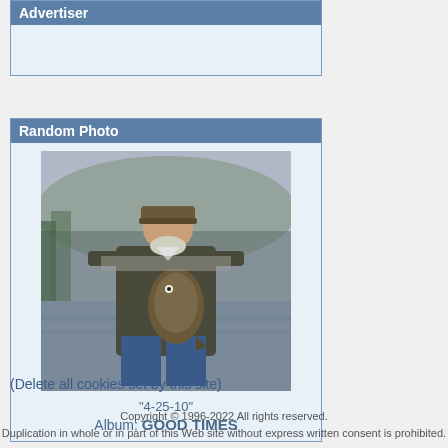Advertiser
[Figure (photo): Man holding a large bass fish outdoors near a river or lake with green hills in the background, wearing a camouflage hat and dark jacket]
"4-25-10"
Album: GOOD TIMES
(Delete all cookies set by this site)
Copyright © 1996-2022 All rights reserved.
Duplication in whole or in part of this Web site without express written consent is prohibited.